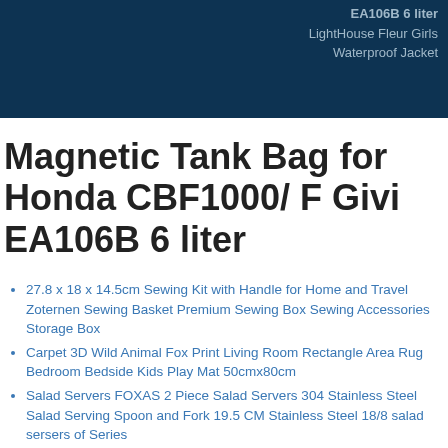EA106B 6 liter
LightHouse Fleur Girls Waterproof Jacket
Magnetic Tank Bag for Honda CBF1000/ F Givi EA106B 6 liter
27.8 x 18 x 14.5cm Sewing Kit with Handle for Home and Travel Zoternen Sewing Basket Premium Sewing Box Sewing Accessories Storage Box
Carpet 3D Wild Animal Fox Print Living Room Rectangle Area Rug Bedroom Bedside Kids Play Mat 50cmx80cm
Salad Servers FOXAS 2 Piece Salad Servers 304 Stainless Steel Salad Serving Spoon and Fork 19.5 CM Stainless Steel 18/8 salad sersers of Series
3 Soft Sandcloth Roll for Metal Glass Woodworking Grinding 150/320/600 Grit Cloth Sandpaper 50M Emery Cloth Roll Astralneck - Galatom EW 68 distance of approximately 38Kg